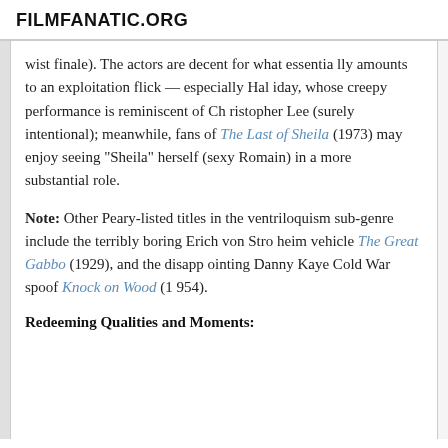FILMFANATIC.ORG
wist finale). The actors are decent for what essentially amounts to an exploitation flick — especially Haliday, whose creepy performance is reminiscent of Christopher Lee (surely intentional); meanwhile, fans of The Last of Sheila (1973) may enjoy seeing "Sheila" herself (sexy Romain) in a more substantial role.
Note: Other Peary-listed titles in the ventriloquism sub-genre include the terribly boring Erich von Stroheim vehicle The Great Gabbo (1929), and the disappointing Danny Kaye Cold War spoof Knock on Wood (1954).
Redeeming Qualities and Moments: